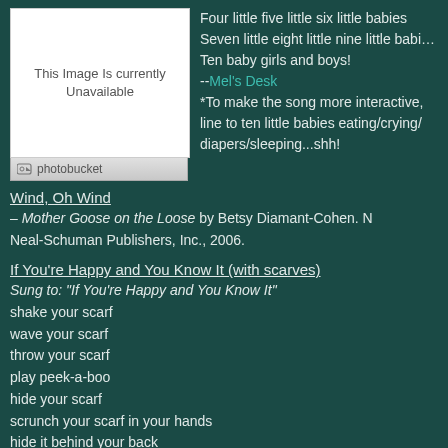[Figure (photo): Photobucket placeholder image showing 'This Image Is currently Unavailable' with Photobucket logo bar below]
Four little five little six little babies
Seven little eight little nine little babies
Ten baby girls and boys!
--Mel's Desk
*To make the song more interactive, line to ten little babies eating/crying/diapers/sleeping...shh!
Wind, Oh Wind
– Mother Goose on the Loose by Betsy Diamant-Cohen. Neal-Schuman Publishers, Inc., 2006.
If You're Happy and You Know It (with scarves)
Sung to: "If You're Happy and You Know It"
shake your scarf
wave your scarf
throw your scarf
play peek-a-boo
hide your scarf
scrunch your scarf in your hands
hide it behind your back
-- Story Time with the Library Lady